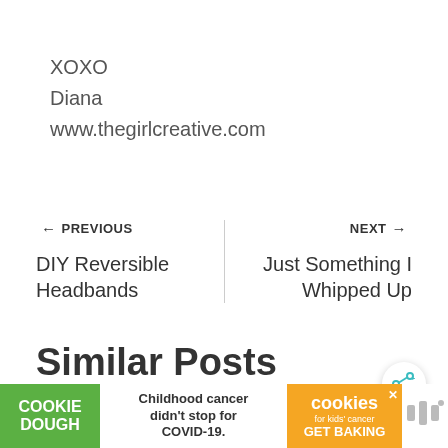XOXO
Diana
www.thegirlcreative.com
← PREVIOUS
DIY Reversible Headbands
NEXT →
Just Something I Whipped Up
[Figure (other): Share button icon (circular button with share/add symbol)]
[Figure (other): What's Next promotional card showing thumbnail image and text: WHAT'S NEXT → FREE SVG Cut Files for Cri...]
Similar Posts
[Figure (other): Advertisement banner: Cookie Dough - Childhood cancer didn't stop for COVID-19. cookies for kids cancer GET BAKING]